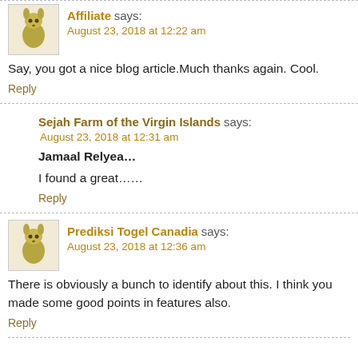Affiliate says: August 23, 2018 at 12:22 am
Say, you got a nice blog article.Much thanks again. Cool.
Reply
Sejah Farm of the Virgin Islands says: August 23, 2018 at 12:31 am
Jamaal Relyea…
I found a great……
Reply
Prediksi Togel Canadia says: August 23, 2018 at 12:36 am
There is obviously a bunch to identify about this. I think you made some good points in features also.
Reply